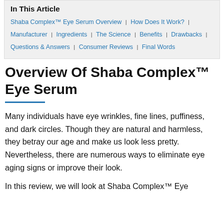In This Article
Shaba Complex™ Eye Serum Overview | How Does It Work? | Manufacturer | Ingredients | The Science | Benefits | Drawbacks | Questions & Answers | Consumer Reviews | Final Words
Overview Of Shaba Complex™ Eye Serum
Many individuals have eye wrinkles, fine lines, puffiness, and dark circles. Though they are natural and harmless, they betray our age and make us look less pretty. Nevertheless, there are numerous ways to eliminate eye aging signs or improve their look.
In this review, we will look at Shaba Complex™ Eye